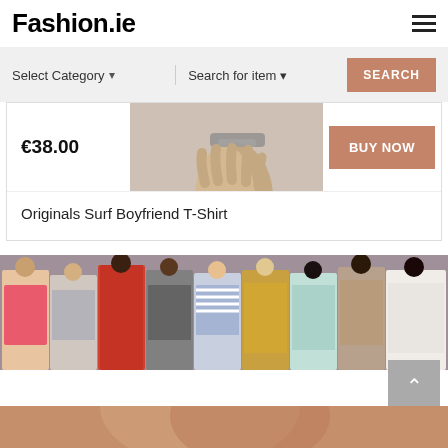Fashion.ie
Select Category ▾   Search for item ▾   SEARCH
€38.00
BUY NOW
Originals Surf Boyfriend T-Shirt
[Figure (photo): Fashion runway models wearing various outfits against a purple/grey background]
[Figure (photo): Partial view of a model at bottom of page]